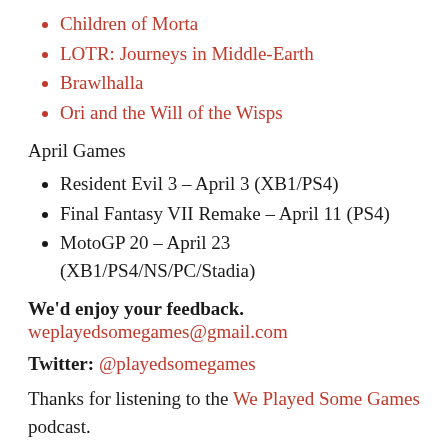Children of Morta
LOTR: Journeys in Middle-Earth
Brawlhalla
Ori and the Will of the Wisps
April Games
Resident Evil 3 – April 3 (XB1/PS4)
Final Fantasy VII Remake – April 11 (PS4)
MotoGP 20 – April 23 (XB1/PS4/NS/PC/Stadia)
We'd enjoy your feedback.
weplayedsomegames@gmail.com
Twitter: @playedsomegames
Thanks for listening to the We Played Some Games podcast.